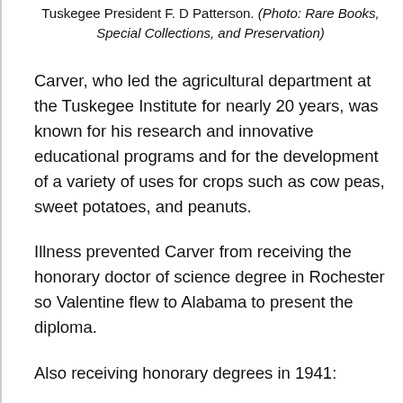Tuskegee President F. D Patterson. (Photo: Rare Books, Special Collections, and Preservation)
Carver, who led the agricultural department at the Tuskegee Institute for nearly 20 years, was known for his research and innovative educational programs and for the development of a variety of uses for crops such as cow peas, sweet potatoes, and peanuts.
Illness prevented Carver from receiving the honorary doctor of science degree in Rochester so Valentine flew to Alabama to present the diploma.
Also receiving honorary degrees in 1941: